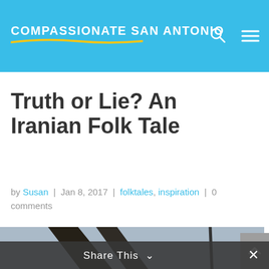COMPASSIONATE SAN ANTONIO
Truth or Lie? An Iranian Folk Tale
by Susan | Jan 8, 2017 | folktales, inspiration | 0 comments
[Figure (photo): Dark silhouette of a person holding a rope, shot from below against a pale gray sky with wooden beams visible]
Share This